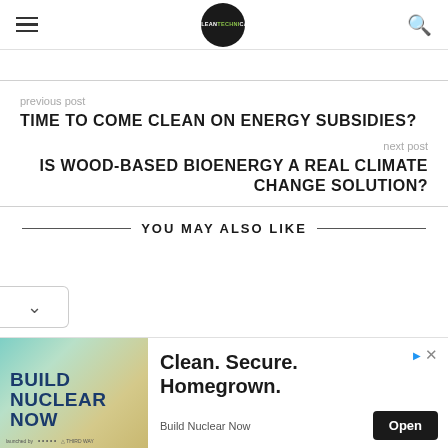CleanTechnica — navigation header with hamburger menu, logo, and search icon
previous post
TIME TO COME CLEAN ON ENERGY SUBSIDIES?
next post
IS WOOD-BASED BIOENERGY A REAL CLIMATE CHANGE SOLUTION?
YOU MAY ALSO LIKE
[Figure (other): Advertisement — Build Nuclear Now campaign. Image of 'BUILD NUCLEAR NOW' text on a textured background. Headline: Clean. Secure. Homegrown. Brand: Build Nuclear Now. Open button.]